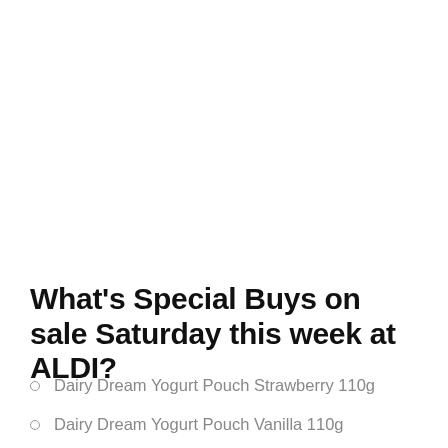What's Special Buys on sale Saturday this week at ALDI?
Dairy Dream Yogurt Pouch Strawberry 110g
Dairy Dream Yogurt Pouch Vanilla 110g